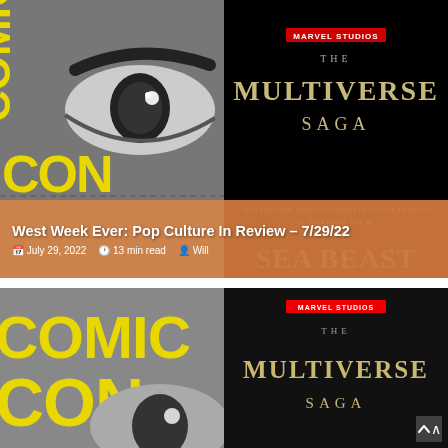[Figure (photo): Comic-Con logo with close-up eye graphic, yellow and grey on dark background]
[Figure (photo): Marvel Studios The Multiverse Saga title card on black background with golden text]
West Week Ever: Pop Culture In Review – 7/29/22
July 29, 2022  13 min read  Will
[Figure (photo): The Sea Beast Netflix film poster with John Cho and Mia Isaac credits, cursive overlay text 'you can't make me go', subtitle 'Family is a trip']
[Figure (photo): Comic-Con logo large yellow text on grey background]
[Figure (photo): Marvel Studios The Multiverse Saga title on dark background]